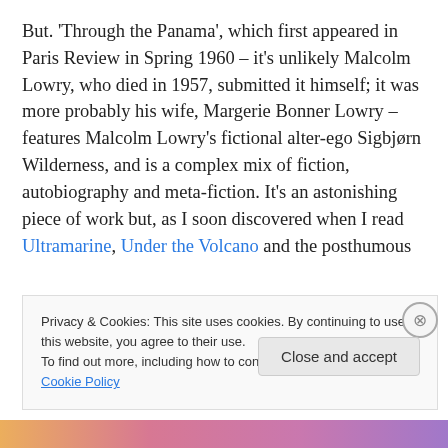But. 'Through the Panama', which first appeared in Paris Review in Spring 1960 – it's unlikely Malcolm Lowry, who died in 1957, submitted it himself; it was more probably his wife, Margerie Bonner Lowry – features Malcolm Lowry's fictional alter-ego Sigbjørn Wilderness, and is a complex mix of fiction, autobiography and meta-fiction. It's an astonishing piece of work but, as I soon discovered when I read Ultramarine, Under the Volcano and the posthumous
Privacy & Cookies: This site uses cookies. By continuing to use this website, you agree to their use.
To find out more, including how to control cookies, see here: Cookie Policy
Close and accept